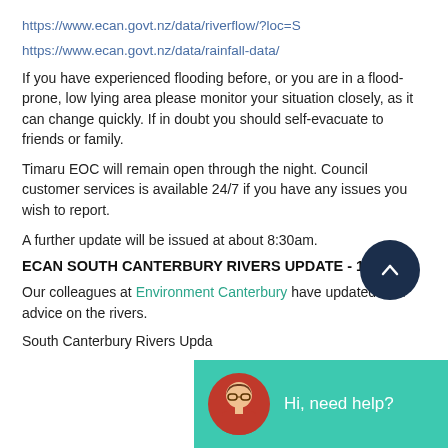https://www.ecan.govt.nz/data/riverflow/?loc=S
https://www.ecan.govt.nz/data/rainfall-data/
If you have experienced flooding before, or you are in a flood-prone, low lying area please monitor your situation closely, as it can change quickly. If in doubt you should self-evacuate to friends or family.
Timaru EOC will remain open through the night. Council customer services is available 24/7 if you have any issues you wish to report.
A further update will be issued at about 8:30am.
ECAN SOUTH CANTERBURY RIVERS UPDATE - 1900
Our colleagues at Environment Canterbury have updated their advice on the rivers.
South Canterbury Rivers Upda